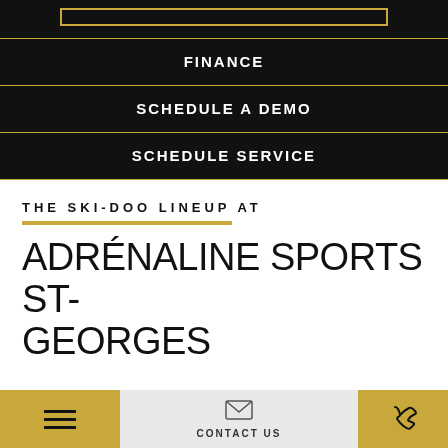FINANCE
SCHEDULE A DEMO
SCHEDULE SERVICE
THE SKI-DOO LINEUP AT
ADRÉNALINE SPORTS ST-GEORGES
DEEP SNOW ▾
CONTACT US